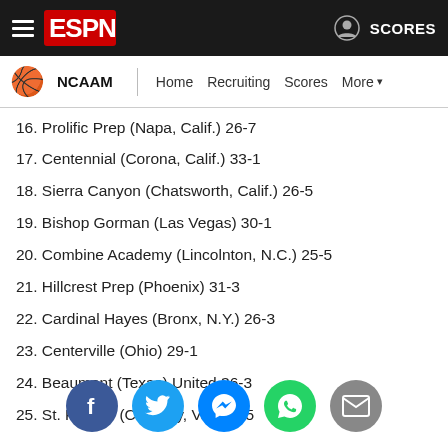ESPN NCAAM | Home Recruiting Scores More
16. Prolific Prep (Napa, Calif.) 26-7
17. Centennial (Corona, Calif.) 33-1
18. Sierra Canyon (Chatsworth, Calif.) 26-5
19. Bishop Gorman (Las Vegas) 30-1
20. Combine Academy (Lincolnton, N.C.) 25-5
21. Hillcrest Prep (Phoenix) 31-3
22. Cardinal Hayes (Bronx, N.Y.) 26-3
23. Centerville (Ohio) 29-1
24. Beaumont (Texas) United 36-3
25. St. Paul VI (Chantilly, Va.) 31-5
[Figure (infographic): Social share buttons: Facebook, Twitter, Messenger, WhatsApp, Email]